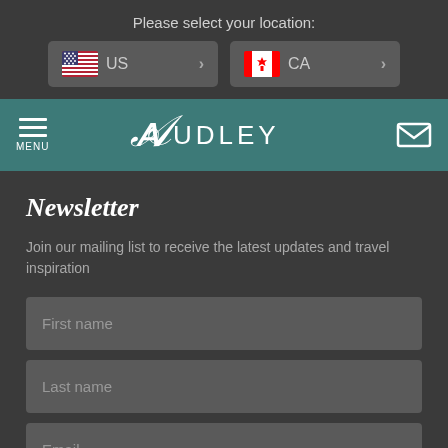Please select your location:
[Figure (screenshot): Two location selector buttons: US with American flag, and CA with Canadian flag, each with a right arrow]
[Figure (logo): Audley Travel navigation bar with hamburger menu icon, MENU label, Audley script logo, and envelope/mail icon on teal background]
Newsletter
Join our mailing list to receive the latest updates and travel inspiration
First name
Last name
Email